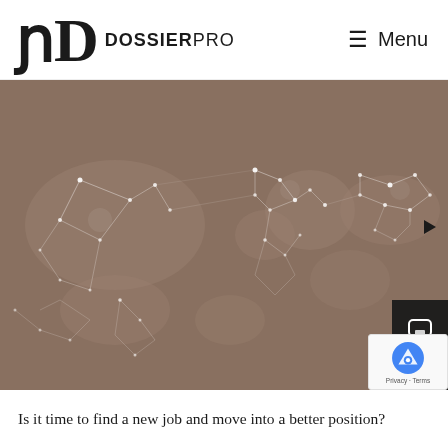DOSSIER PRO — Menu
[Figure (map): World map visualization with glowing white network connections and nodes on a warm dark taupe/brown background, showing interconnected global network lines across all continents]
Is it time to find a new job and move into a better position?